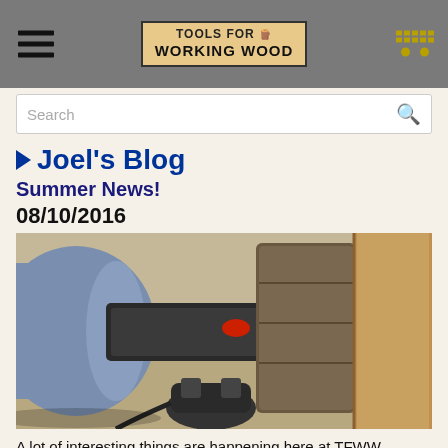Tools for Working Wood
Joel's Blog
Summer News!
08/10/2016
[Figure (photo): Close-up photo of a bench grinder with a blue motor body, black spindle assembly, grinding wheel, and a wooden workpiece. Clamp mechanism visible at bottom.]
A lot of interesting things are happening here at TFWW. Summer, while not extremely busy from a woodworking